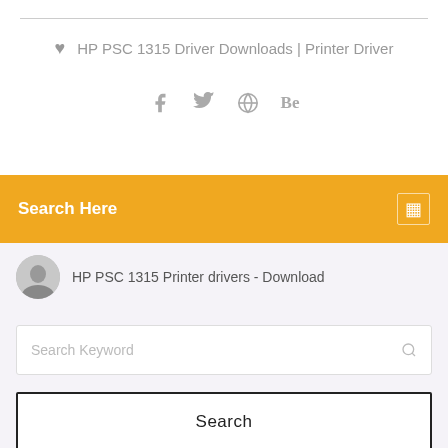HP PSC 1315 Driver Downloads | Printer Driver
[Figure (infographic): Social media icons: Facebook, Twitter, a globe/network icon, and Behance]
Search Here
HP PSC 1315 Printer drivers - Download
Search Keyword
Search